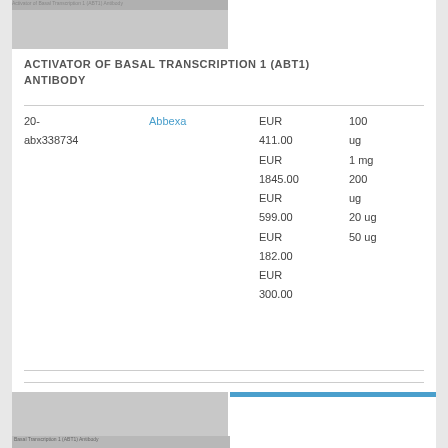[Figure (photo): Partial product image placeholder at top (gray box)]
ACTIVATOR OF BASAL TRANSCRIPTION 1 (ABT1) ANTIBODY
| Catalog | Supplier | Price | Quantity |
| --- | --- | --- | --- |
| 20-abx338734 | Abbexa | EUR 411.00 | 100 ug |
|  |  | EUR 1845.00 | 1 mg |
|  |  | EUR 599.00 | 200 ug |
|  |  | EUR 182.00 | 20 ug |
|  |  | EUR 300.00 | 50 ug |
[Figure (photo): Partial product image placeholder at bottom (gray box with label text)]